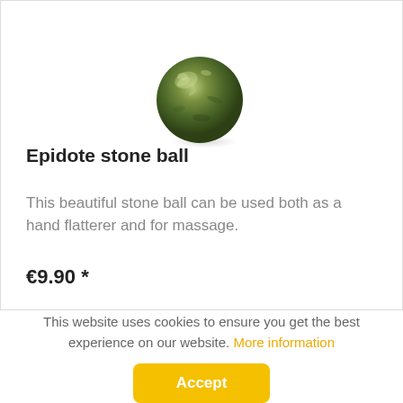[Figure (photo): Green epidote stone ball with shadow, centered on white background]
Epidote stone ball
This beautiful stone ball can be used both as a hand flatterer and for massage.
€9.90 *
This website uses cookies to ensure you get the best experience on our website. More information
Accept